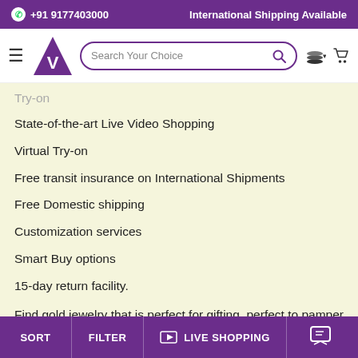+91 9177403000   International Shipping Available
[Figure (logo): Vijay Jewellers logo with purple triangle and V letter, search bar, currency and cart icons]
State-of-the-art Live Video Shopping
Virtual Try-on
Free transit insurance on International Shipments
Free Domestic shipping
Customization services
Smart Buy options
15-day return facility.
Find gold jewelry that is perfect for gifting, perfect to pamper yourself on milestone events, perfect to refresh your bonds, perfect to stay
SORT   FILTER   LIVE SHOPPING   [chat icon]